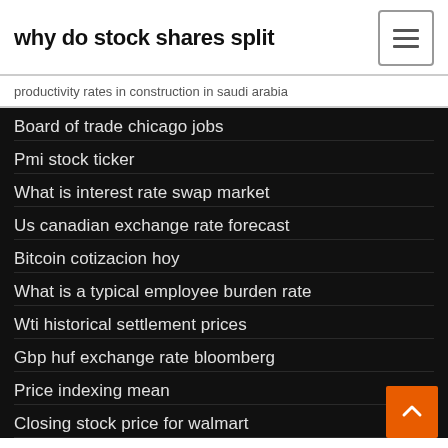why do stock shares split
productivity rates in construction in saudi arabia
Board of trade chicago jobs
Pmi stock ticker
What is interest rate swap market
Us canadian exchange rate forecast
Bitcoin cotizacion hoy
What is a typical employee burden rate
Wti historical settlement prices
Gbp huf exchange rate bloomberg
Price indexing mean
Closing stock price for walmart